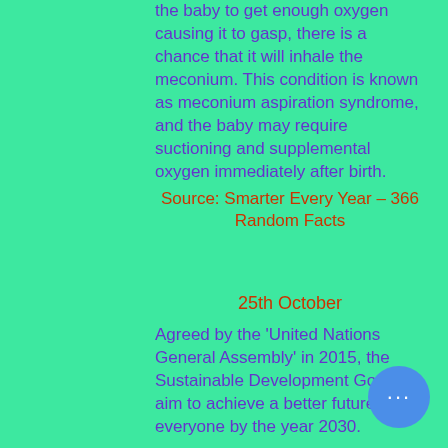the baby to get enough oxygen causing it to gasp, there is a chance that it will inhale the meconium. This condition is known as meconium aspiration syndrome, and the baby may require suctioning and supplemental oxygen immediately after birth.
Source: Smarter Every Year – 366 Random Facts
25th October
Agreed by the 'United Nations General Assembly' in 2015, the Sustainable Development Goals aim to achieve a better future for everyone by the year 2030.
Alliance 8.7 is an inclusive global